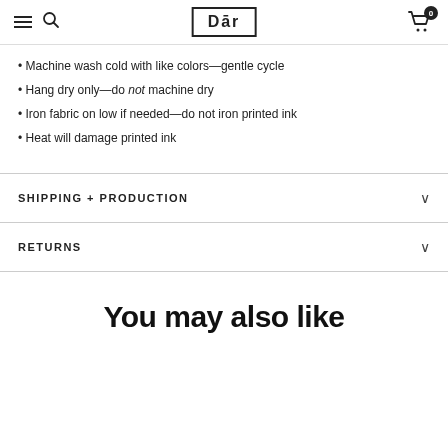Dār
Machine wash cold with like colors—gentle cycle
Hang dry only—do not machine dry
Iron fabric on low if needed—do not iron printed ink
Heat will damage printed ink
SHIPPING + PRODUCTION
RETURNS
You may also like